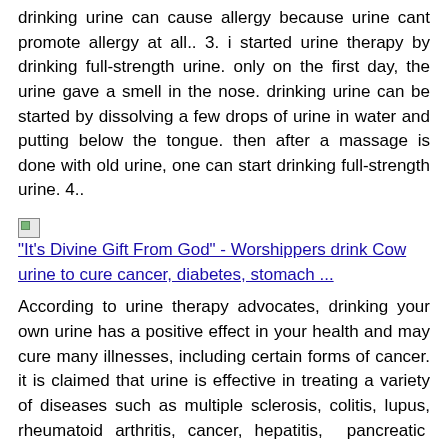drinking urine can cause allergy because urine cant promote allergy at all.. 3. i started urine therapy by drinking full-strength urine. only on the first day, the urine gave a smell in the nose. drinking urine can be started by dissolving a few drops of urine in water and putting below the tongue. then after a massage is done with old urine, one can start drinking full-strength urine. 4..
[Figure (photo): Broken image icon followed by link text: "It's Divine Gift From God" - Worshippers drink Cow urine to cure cancer, diabetes, stomach ...]
According to urine therapy advocates, drinking your own urine has a positive effect in your health and may cure many illnesses, including certain forms of cancer. it is claimed that urine is effective in treating a variety of diseases such as multiple sclerosis, colitis, lupus, rheumatoid arthritis, cancer, hepatitis, pancreatic insufficiency, psoriasis, eczema, diabetes and herpes.. Urine therapy is an age-old treatment for curing a number of disease like diabetes, obesity, skin allergy, etc. although, this therapy has always been a matter